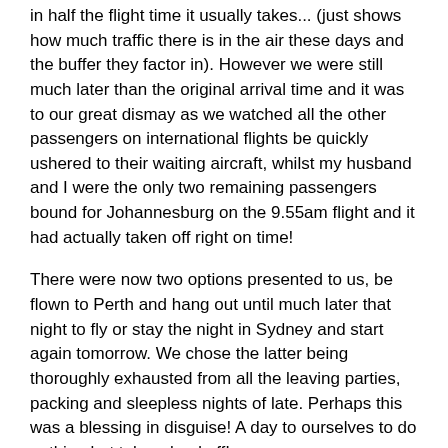in half the flight time it usually takes... (just shows how much traffic there is in the air these days and the buffer they factor in).  However we were still much later than the original arrival time and it was to our great dismay as we watched all the other passengers on international flights be quickly ushered to their waiting aircraft, whilst my husband and I were the only two remaining passengers bound for Johannesburg on the 9.55am flight and it had actually taken off right on time!
There were now two options presented to us, be flown to Perth and hang out until much later that night to fly or stay the night in Sydney and start again tomorrow.   We chose the latter being thoroughly exhausted from all the leaving parties, packing and sleepless nights of late.  Perhaps this was a blessing in disguise!  A day to ourselves to do nothing but take a load off!